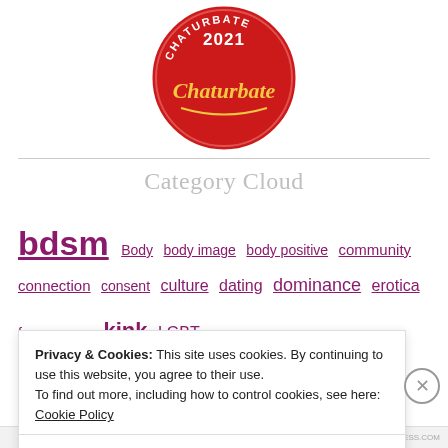[Figure (logo): Chaturbate 2021 award badge — circular red badge with gold trim, year 2021 at top, Chaturbate logo in stylized text]
Category Cloud
bdsm  Body  body image  body positive  community  connection  consent  culture  dating  dominance  erotica  kink  LGBT
Privacy & Cookies: This site uses cookies. By continuing to use this website, you agree to their use.
To find out more, including how to control cookies, see here:
Cookie Policy
Close and accept